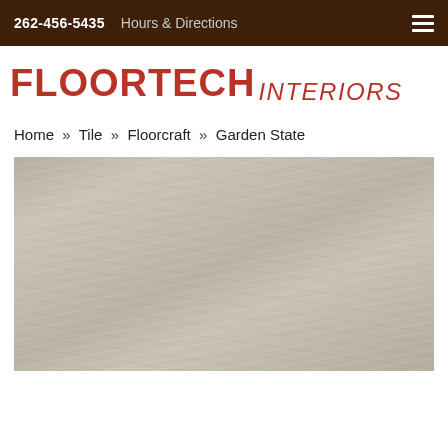262-456-5435   Hours & Directions
[Figure (logo): Floortech Interiors logo with bold red FLOORTECH text and italic INTERIORS text]
Home » Tile » Floorcraft » Garden State
[Figure (photo): Close-up photo of a tile product showing a beige/greige wood-look tile texture with horizontal grain lines, from the Garden State collection by Floorcraft]